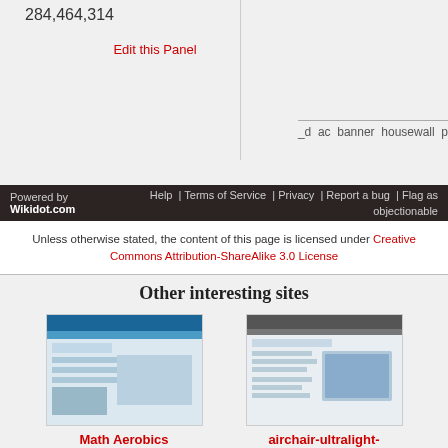284,464,314
Edit this Panel
_d  ac  banner  housewall  p
Powered by Wikidot.com  |  Help | Terms of Service | Privacy | Report a bug | Flag as objectionable
Unless otherwise stated, the content of this page is licensed under Creative Commons Attribution-ShareAlike 3.0 License
Other interesting sites
[Figure (screenshot): Screenshot of Math Aerobics website]
Math Aerobics
ADIDAS - All Day I Dream About Sums...!!
[Figure (screenshot): Screenshot of airchair-ultralight-gliders website]
airchair-ultralight-gliders
Building and flying the Goat and Bug style of airchair ultralight gliders
[Figure (screenshot): Screenshot of SCP website]
SCP 위키
공포, 괴담, 경이
[Figure (screenshot): Screenshot of Black Marches website]
Black Marches
Roll20 Pathfinder